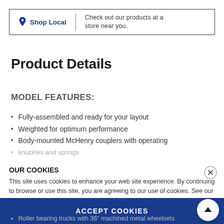[Figure (infographic): Shop Local banner with location pin icon, bold 'Shop Local' text in blue, a vertical divider, and text 'Check out our products at a store near you.']
Product Details
MODEL FEATURES:
Fully-assembled and ready for your layout
Weighted for optimum performance
Body-mounted McHenry couplers with operating knuckles and springs
packaged in a jewel box for great display and storage
...accurate tracking
OUR COOKIES
This site uses cookies to enhance your web site experience. By continuing to browse or use this site, you are agreeing to our use of cookies. See our privacy policy here.
ACCEPT COOKIES
Roller bearing trucks with 36" machined metal wheelsets